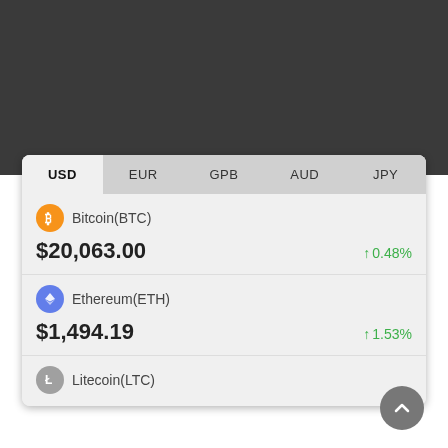| USD | EUR | GPB | AUD | JPY |
| --- | --- | --- | --- | --- |
| Bitcoin(BTC) | $20,063.00 | ↑ 0.48% |
| Ethereum(ETH) | $1,494.19 | ↑ 1.53% |
| Litecoin(LTC) |  |  |